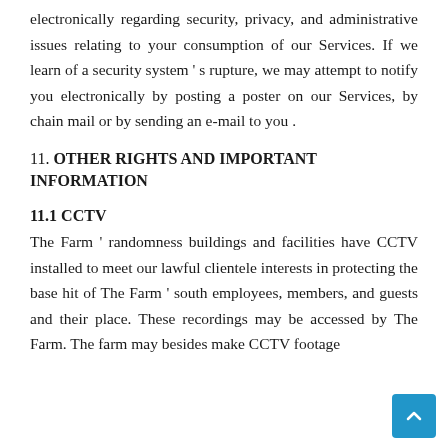electronically regarding security, privacy, and administrative issues relating to your consumption of our Services. If we learn of a security system ' s rupture, we may attempt to notify you electronically by posting a poster on our Services, by chain mail or by sending an e-mail to you .
11. OTHER RIGHTS AND IMPORTANT INFORMATION
11.1 CCTV
The Farm ' randomness buildings and facilities have CCTV installed to meet our lawful clientele interests in protecting the base hit of The Farm ' south employees, members, and guests and their place. These recordings may be accessed by The Farm. The farm may besides make CCTV footage